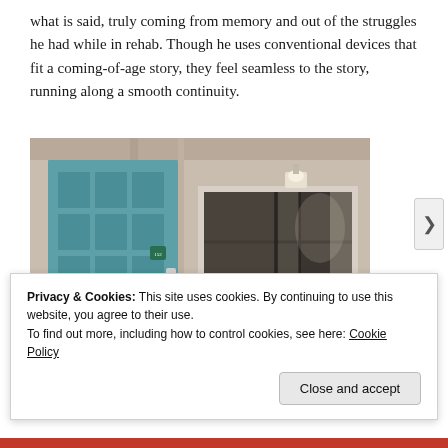what is said, truly coming from memory and out of the struggles he had while in rehab. Though he uses conventional devices that fit a coming-of-age story, they feel seamless to the story, running along a smooth continuity.
[Figure (photo): Exterior photo of a building entrance showing a teal/blue panel door with decorative rectangular insets and a silver handle, a small house number sign, and a large multi-pane sliding window to the right. The wall is a beige/tan color. A wall-mounted light fixture is visible above the window.]
Privacy & Cookies: This site uses cookies. By continuing to use this website, you agree to their use.
To find out more, including how to control cookies, see here: Cookie Policy
Close and accept